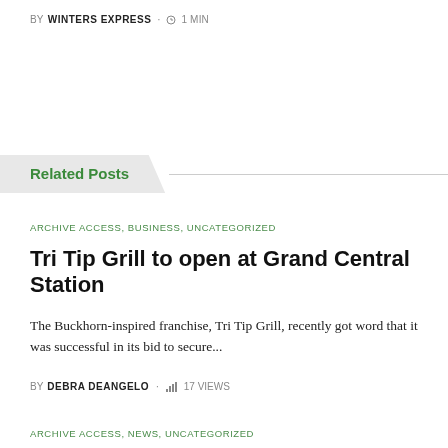BY WINTERS EXPRESS · 1 MIN
Related Posts
ARCHIVE ACCESS, BUSINESS, UNCATEGORIZED
Tri Tip Grill to open at Grand Central Station
The Buckhorn-inspired franchise, Tri Tip Grill, recently got word that it was successful in its bid to secure...
BY DEBRA DEANGELO · 17 VIEWS
ARCHIVE ACCESS, NEWS, UNCATEGORIZED